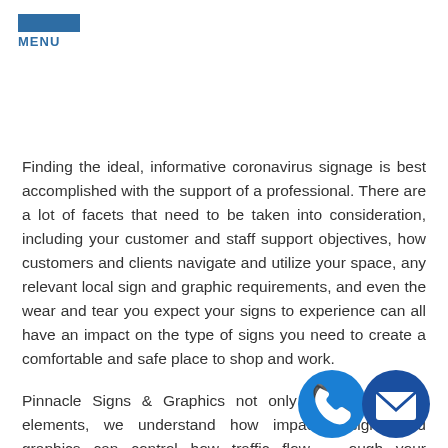MENU
Finding the ideal, informative coronavirus signage is best accomplished with the support of a professional. There are a lot of facets that need to be taken into consideration, including your customer and staff support objectives, how customers and clients navigate and utilize your space, any relevant local sign and graphic requirements, and even the wear and tear you expect your signs to experience can all have an impact on the type of signs you need to create a comfortable and safe place to shop and work.
Pinnacle Signs & Graphics not only delivers signage elements, we understand how impactful signs and graphics can control how traffic flows through your facilities, inspire your staff, and make sure your is
[Figure (illustration): Two circular icons overlapping at bottom right: a blue phone icon and a dark blue email/envelope icon]